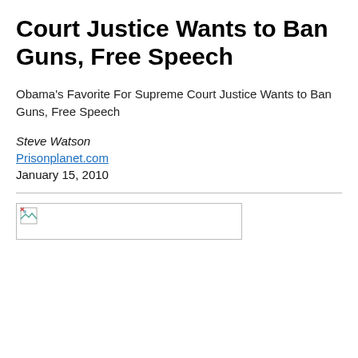Court Justice Wants to Ban Guns, Free Speech
Obama's Favorite For Supreme Court Justice Wants to Ban Guns, Free Speech
Steve Watson
Prisonplanet.com
January 15, 2010
[Figure (other): Broken image placeholder — a small image thumbnail with a broken link icon]